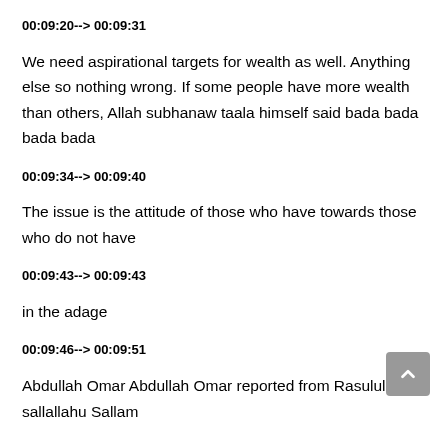00:09:20--> 00:09:31
We need aspirational targets for wealth as well. Anything else so nothing wrong. If some people have more wealth than others, Allah subhanaw taala himself said bada bada bada bada
00:09:34--> 00:09:40
The issue is the attitude of those who have towards those who do not have
00:09:43--> 00:09:43
in the adage
00:09:46--> 00:09:51
Abdullah Omar Abdullah Omar reported from Rasulullah sallallahu Sallam